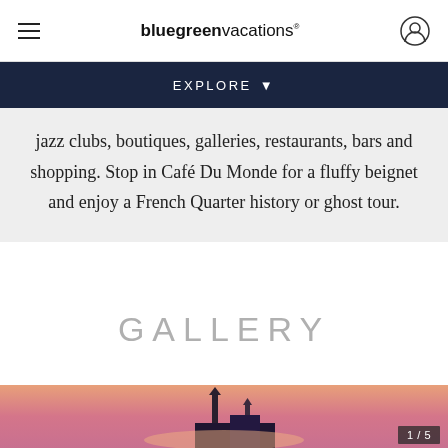bluegreen vacations
EXPLORE
jazz clubs, boutiques, galleries, restaurants, bars and shopping. Stop in Café Du Monde for a fluffy beignet and enjoy a French Quarter history or ghost tour.
GALLERY
[Figure (photo): Photo of church spires at dusk/sunset with pink-orange sky, with a counter showing 1/5]